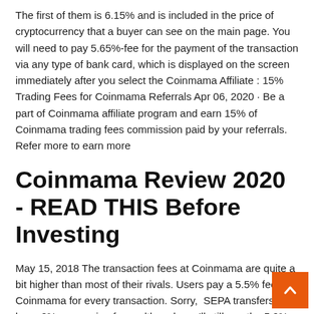The first of them is 6.15% and is included in the price of cryptocurrency that a buyer can see on the main page. You will need to pay 5.65%-fee for the payment of the transaction via any type of bank card, which is displayed on the screen immediately after you select the Coinmama Affiliate : 15% Trading Fees for Coinmama Referrals Apr 06, 2020 · Be a part of Coinmama affiliate program and earn 15% of Coinmama trading fees commission paid by your referrals. Refer more to earn more
Coinmama Review 2020 - READ THIS Before Investing
May 15, 2018 The transaction fees at Coinmama are quite a bit higher than most of their rivals. Users pay a 5.5% fee to Coinmama for every transaction. Sorry,  SEPA transfers have 0% processing fees, although you'll still pay the 5.9% exchange